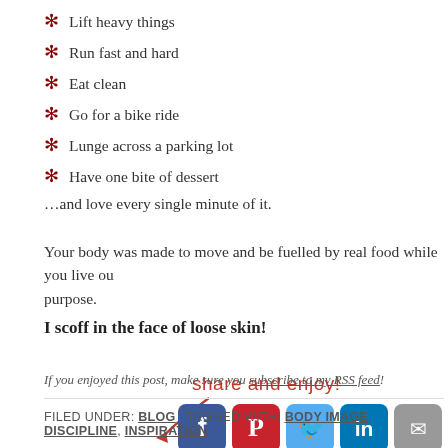Lift heavy things
Run fast and hard
Eat clean
Go for a bike ride
Lunge across a parking lot
Have one bite of dessert
…and love every single minute of it.
Your body was made to move and be fuelled by real food while you live out your purpose.
I scoff in the face of loose skin!
[Figure (infographic): Handwritten text 'share and enjoy!' with a curved arrow pointing to social media icons (Facebook, Pinterest, Twitter, LinkedIn, Email)]
If you enjoyed this post, make sure you subscribe to my RSS feed!
FILED UNDER: BLOG · TAGGED WITH: BODY IMAGE, DISCIPLINE, INSPIRATION